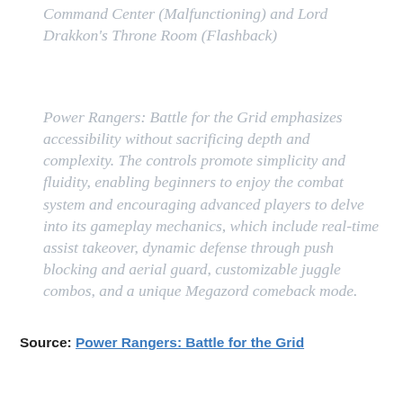Command Center (Malfunctioning) and Lord Drakkon's Throne Room (Flashback)
Power Rangers: Battle for the Grid emphasizes accessibility without sacrificing depth and complexity. The controls promote simplicity and fluidity, enabling beginners to enjoy the combat system and encouraging advanced players to delve into its gameplay mechanics, which include real-time assist takeover, dynamic defense through push blocking and aerial guard, customizable juggle combos, and a unique Megazord comeback mode.
Source: Power Rangers: Battle for the Grid